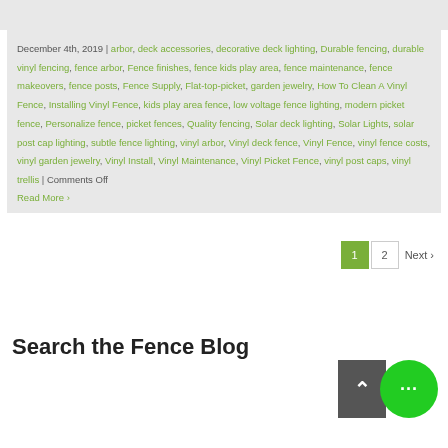December 4th, 2019 | arbor, deck accessories, decorative deck lighting, Durable fencing, durable vinyl fencing, fence arbor, Fence finishes, fence kids play area, fence maintenance, fence makeovers, fence posts, Fence Supply, Flat-top-picket, garden jewelry, How To Clean A Vinyl Fence, Installing Vinyl Fence, kids play area fence, low voltage fence lighting, modern picket fence, Personalize fence, picket fences, Quality fencing, Solar deck lighting, Solar Lights, solar post cap lighting, subtle fence lighting, vinyl arbor, Vinyl deck fence, Vinyl Fence, vinyl fence costs, vinyl garden jewelry, Vinyl Install, Vinyl Maintenance, Vinyl Picket Fence, vinyl post caps, vinyl trellis | Comments Off
Read More ›
1  2  Next ›
Search the Fence Blog